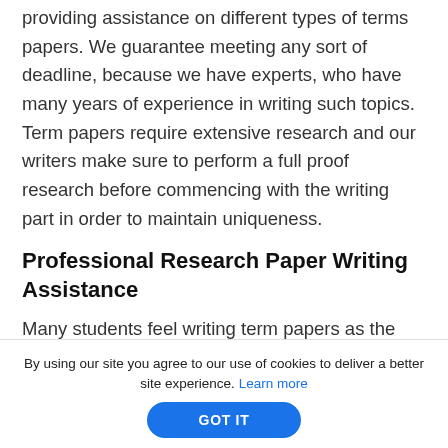providing assistance on different types of terms papers. We guarantee meeting any sort of deadline, because we have experts, who have many years of experience in writing such topics. Term papers require extensive research and our writers make sure to perform a full proof research before commencing with the writing part in order to maintain uniqueness.
Professional Research Paper Writing Assistance
Many students feel writing term papers as the worst part of their life. They try their best to avoid it, but
By using our site you agree to our use of cookies to deliver a better site experience. Learn more